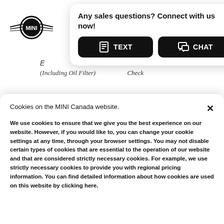[Figure (logo): MINI brand logo with wings]
Any sales questions? Connect with us now!
TEXT
CHAT
(Including Oil Filter)
Check
[Figure (illustration): Air filter icon with wavy arrows]
Air Filter
[Figure (illustration): Fuel pump icon]
Fuel Filter
Cookies on the MINI Canada website.
We use cookies to ensure that we give you the best experience on our website. However, if you would like to, you can change your cookie settings at any time, through your browser settings. You may not disable certain types of cookies that are essential to the operation of our website and that are considered strictly necessary cookies. For example, we use strictly necessary cookies to provide you with regional pricing information. You can find detailed information about how cookies are used on this website by clicking here.